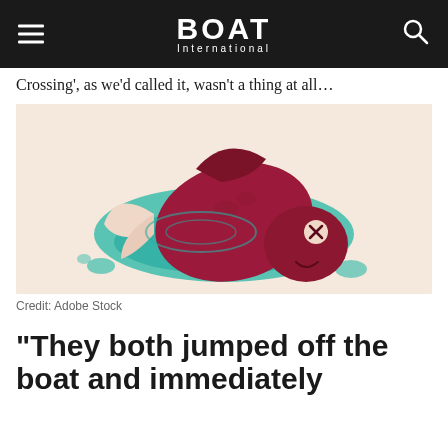BOAT International
Crossing', as we'd called it, wasn't a thing at all...
[Figure (illustration): Cartoon illustration of a dead red fish lying on its side in a teal pool of water on a light peach background. The fish has crossed-out eyes indicating it is dead, with fins splayed out.]
Credit: Adobe Stock
“They both jumped off the boat and immediately